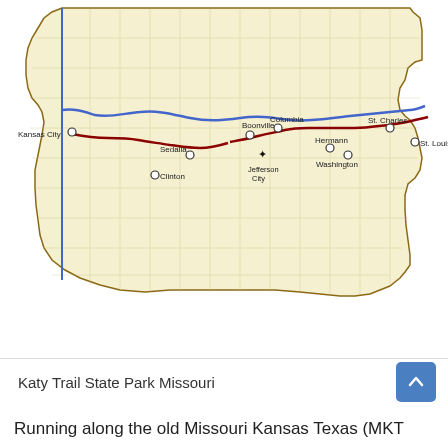[Figure (map): Map of Missouri showing the Katy Trail State Park route (dark red line) running roughly east-west through the middle of the state, following the Missouri River (blue line). Cities marked include Kansas City, Clinton, Sedalia, Boonville, Columbia, Jefferson City, Hermann, Washington, St. Charles, and St. Louis. The map includes a scale bar in km and mi. Source: Missouri Department of Natural Resources.]
Katy Trail State Park Missouri
Running along the old Missouri Kansas Texas (MKT